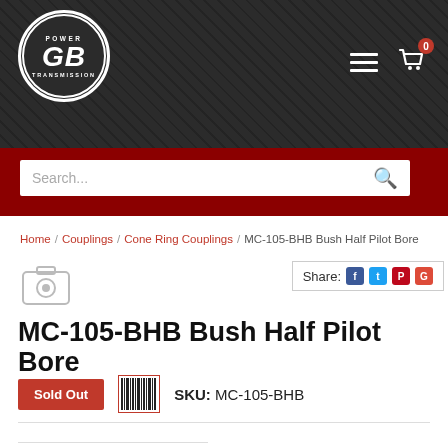[Figure (logo): GB Power Transmission circular logo in white on dark background]
GB Power Transmission - navigation header with hamburger menu and cart icon
Search...
Home / Couplings / Cone Ring Couplings / MC-105-BHB Bush Half Pilot Bore
[Figure (photo): Product photo placeholder (camera icon)]
Share:
MC-105-BHB Bush Half Pilot Bore
Sold Out
SKU: MC-105-BHB